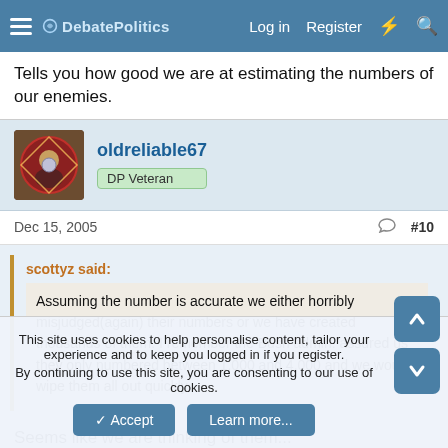DebatePolitics — Log in  Register
Tells you how good we are at estimating the numbers of our enemies.
oldreliable67
DP Veteran
Dec 15, 2005  #10
scottyz said:
Assuming the number is accurate we either horribly misjudged(again) their numbers or we have created thousands of them. I remember the Bush admin. assured us they only numbered between 1,000 and 4,000 and we would wipe them all out quickly.
Seems like we are thinking of them...
This site uses cookies to help personalise content, tailor your experience and to keep you logged in if you register.
By continuing to use this site, you are consenting to our use of cookies.
✓ Accept    Learn more...